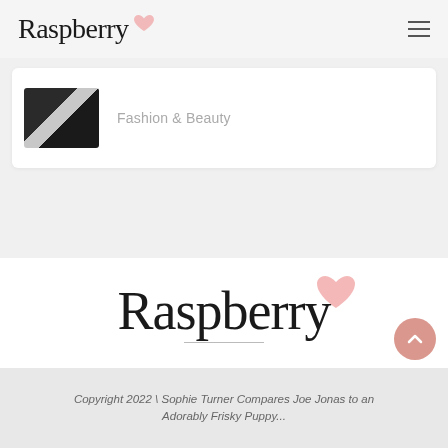Raspberry
[Figure (screenshot): Card with fashion photo thumbnail showing people in black and white clothing, with text 'Fashion & Beauty']
Fashion & Beauty
[Figure (logo): Raspberry logo in large serif font with a pink heart accent, with a short gray underline beneath]
Copyright 2022 \ Sophie Turner Compares Joe Jonas to an Adorably Frisky Puppy...